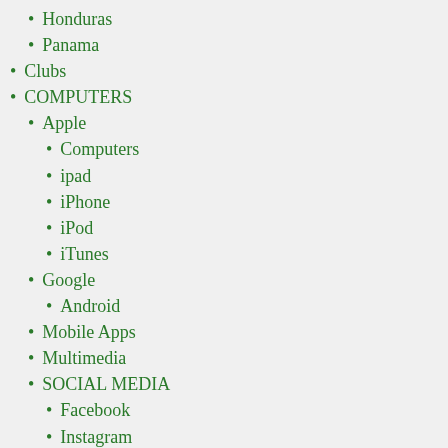Honduras
Panama
Clubs
COMPUTERS
Apple
Computers
ipad
iPhone
iPod
iTunes
Google
Android
Mobile Apps
Multimedia
SOCIAL MEDIA
Facebook
Instagram
LinkedIn
Pinterest
Twitter
Software
Virtual Reality